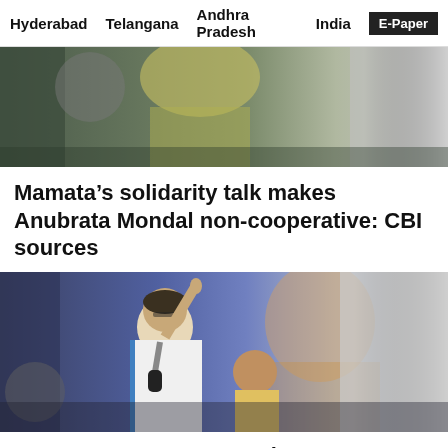Hyderabad  Telangana  Andhra Pradesh  India  E-Paper
[Figure (photo): Partially visible photo of people, cropped at top, dark and muted tones]
Mamata’s solidarity talk makes Anubrata Mondal non-cooperative: CBI sources
[Figure (photo): Photo of Mamata Banerjee speaking at a rally, pointing finger upward, holding microphone, wearing white sari with blue border, crowd in background]
As protests over corruption grow in Bengal, more Trinamool leaders use threatening…
[Figure (photo): Partial photo at bottom, yellow and dark tones, partially cut off]